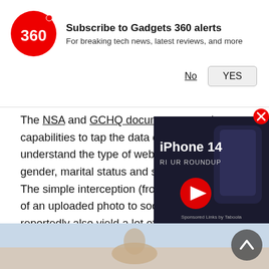[Figure (logo): Gadgets 360 red circular logo with '360' text]
Subscribe to Gadgets 360 alerts
For breaking tech news, latest reviews, and more
No   YES
The NSA and GCHQ documents reveal capabilities to tap the data of a user, understand the type of websites visited, age, gender, marital status and sexual orientation. The simple interception (from user to network) of an uploaded photo to social media can reportedly also yield a lot of user data including phone number, buddy lists, and "a host" of networking data as well as location."
[Figure (screenshot): iPhone 14 Review Roundup video thumbnail overlay with play button, showing phone image and text 'iPhone 14 REVIEW ROUNDUP']
[Figure (photo): Person photo at bottom of page]